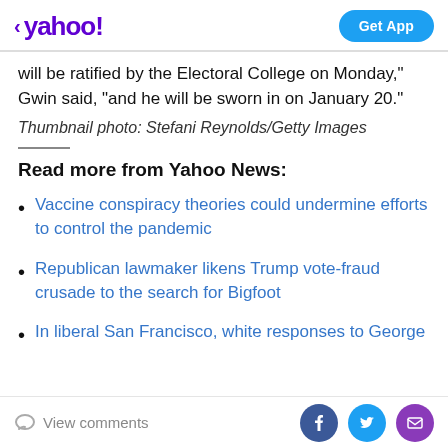yahoo! | Get App
will be ratified by the Electoral College on Monday," Gwin said, "and he will be sworn in on January 20."
Thumbnail photo: Stefani Reynolds/Getty Images
Read more from Yahoo News:
Vaccine conspiracy theories could undermine efforts to control the pandemic
Republican lawmaker likens Trump vote-fraud crusade to the search for Bigfoot
In liberal San Francisco, white responses to George
View comments